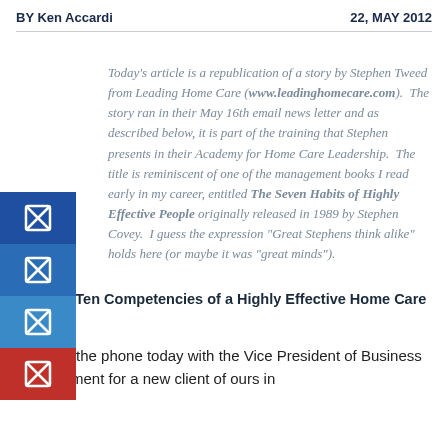BY Ken Accardi    22, MAY 2012
Today's article is a republication of a story by Stephen Tweed from Leading Home Care (www.leadinghomecare.com).  The story ran in their May 16th email news letter and as described below, it is part of the training that Stephen presents in their Academy for Home Care Leadership.  The title is reminiscent of one of the management books I read early in my career, entitled The Seven Habits of Highly Effective People originally released in 1989 by Stephen Covey.  I guess the expression "Great Stephens think alike" holds here (or maybe it was "great minds").
The Top Ten Competencies of a Highly Effective Home Care Leader
I was on the phone today with the Vice President of Business Development for a new client of ours in